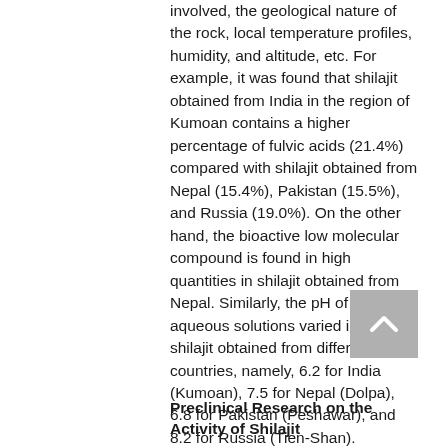involved, the geological nature of the rock, local temperature profiles, humidity, and altitude, etc. For example, it was found that shilajit obtained from India in the region of Kumoan contains a higher percentage of fulvic acids (21.4%) compared with shilajit obtained from Nepal (15.4%), Pakistan (15.5%), and Russia (19.0%). On the other hand, the bioactive low molecular compound is found in high quantities in shilajit obtained from Nepal. Similarly, the pH of 1% aqueous solutions varied in the shilajit obtained from different countries, namely, 6.2 for India (Kumoan), 7.5 for Nepal (Dolpa), 6.8 for Pakistan (Peshawar), and 8.2 for Russia (Tien-Shan). Similarly, humic constituents in shilajit samples obtained from these countries also varied.23
Preclinical Research on the Activity of Shilajit